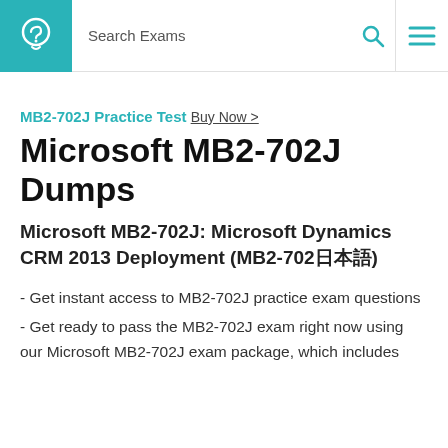Search Exams
MB2-702J Practice Test Buy Now >
Microsoft MB2-702J Dumps
Microsoft MB2-702J: Microsoft Dynamics CRM 2013 Deployment (MB2-702日本語)
- Get instant access to MB2-702J practice exam questions
- Get ready to pass the MB2-702J exam right now using our Microsoft MB2-702J exam package, which includes